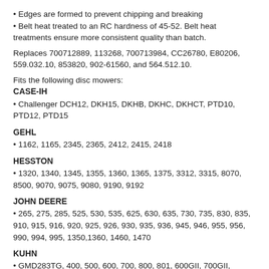• Edges are formed to prevent chipping and breaking
• Belt heat treated to an RC hardness of 45-52. Belt heat treatments ensure more consistent quality than batch.
Replaces 700712889, 113268, 700713984, CC26780, E80206, 559.032.10, 853820, 902-61560, and 564.512.10.
Fits the following disc mowers:
CASE-IH
• Challenger DCH12, DKH15, DKHB, DKHC, DKHCT, PTD10, PTD12, PTD15
GEHL
• 1162, 1165, 2345, 2365, 2412, 2415, 2418
HESSTON
• 1320, 1340, 1345, 1355, 1360, 1365, 1375, 3312, 3315, 8070, 8500, 9070, 9075, 9080, 9190, 9192
JOHN DEERE
• 265, 275, 285, 525, 530, 535, 625, 630, 635, 730, 735, 830, 835, 910, 915, 916, 920, 925, 926, 930, 935, 936, 945, 946, 955, 956, 990, 994, 995, 1350,1360, 1460, 1470
KUHN
• GMD283TG, 400, 500, 600, 700, 800, 801, 600GII, 700GII, 800GII, FC243, 250, 283, 300, 302, 303, 313, 350, 352, 353, 813, 883, 4000, Alterna 400, 500
MASSEY FERGUSON